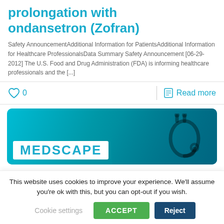prolongation with ondansetron (Zofran)
Safety AnnouncementAdditional Information for PatientsAdditional Information for Healthcare ProfessionalsData Summary Safety Announcement [06-29-2012] The U.S. Food and Drug Administration (FDA) is informing healthcare professionals and the [...]
0   Read more
[Figure (photo): Teal/cyan medical themed image with MEDSCAPE logo overlay in white box at bottom left, stethoscope silhouette visible on right side]
This website uses cookies to improve your experience. We'll assume you're ok with this, but you can opt-out if you wish. Cookie settings  ACCEPT  Reject